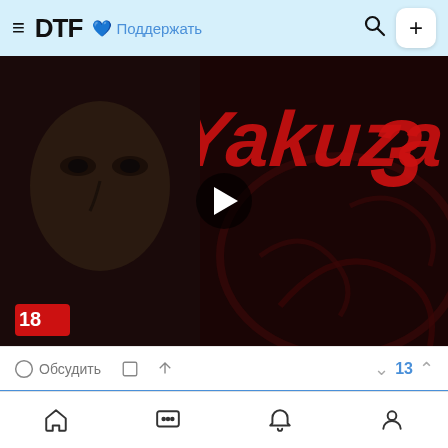≡ DTF 💙 Поддержать
[Figure (screenshot): Yakuza 3 video thumbnail with play button overlay, showing a dark dramatic close-up of a man's face alongside the Yakuza 3 game cover art with red lettering. An 18+ rating badge is visible in the bottom-left corner.]
Обсудить   13
Продолжить в приложении   Открыть
Home  Chat  Notifications  Profile